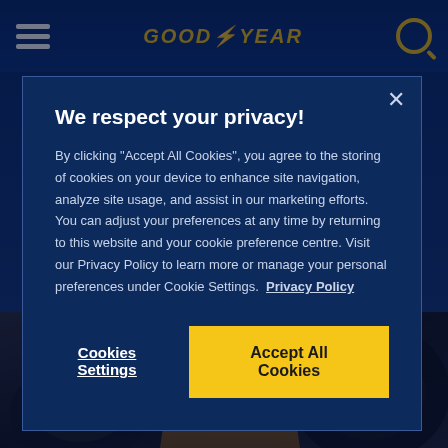[Figure (screenshot): Goodyear website header with hamburger menu, Goodyear logo, and search icon on dark blue background]
[Figure (photo): Background photo of a Goodyear mechanic in yellow and blue uniform working on a large tire]
We respect your privacy!
By clicking "Accept All Cookies", you agree to the storing of cookies on your device to enhance site navigation, analyze site usage, and assist in our marketing efforts. You can adjust your preferences at any time by returning to this website and your cookie preference centre. Visit our Privacy Policy to learn more or manage your personal preferences under Cookie Settings.  Privacy Policy
Cookies Settings
Accept All Cookies